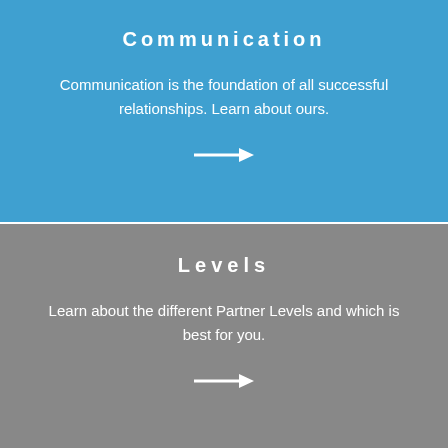Communication
Communication is the foundation of all successful relationships. Learn about ours.
[Figure (illustration): White right-pointing arrow on blue background]
Levels
Learn about the different Partner Levels and which is best for you.
[Figure (illustration): White right-pointing arrow on grey background]